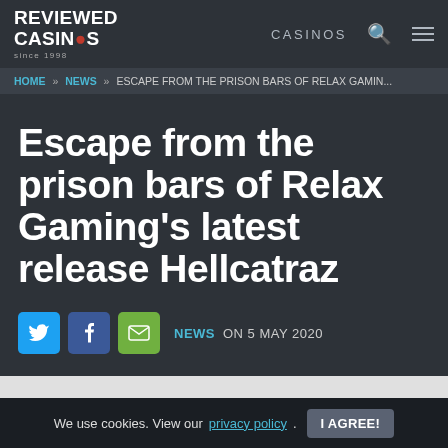REVIEWED CASINOS since 1998 | CASINOS
HOME » NEWS » ESCAPE FROM THE PRISON BARS OF RELAX GAMIN...
Escape from the prison bars of Relax Gaming's latest release Hellcatraz
NEWS ON 5 MAY 2020
We use cookies. View our privacy policy. I AGREE!